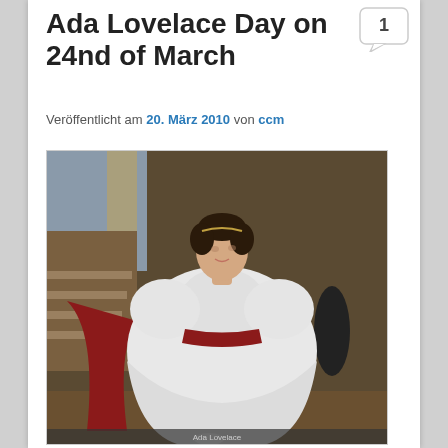Ada Lovelace Day on 24nd of March
Veröffentlicht am 20. März 2010 von ccm
[Figure (photo): Portrait painting of Ada Lovelace in a white ball gown with puffed sleeves and a red sash, standing in an interior with stairs and a dark background]